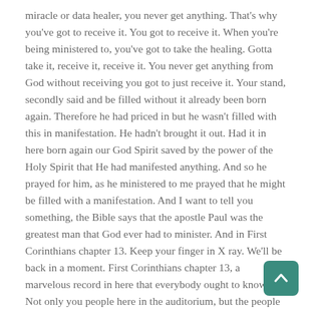miracle or data healer, you never get anything. That's why you've got to receive it. You got to receive it. When you're being ministered to, you've got to take the healing. Gotta take it, receive it, receive it. You never get anything from God without receiving you got to just receive it. Your stand, secondly said and be filled without it already been born again. Therefore he had priced in but he wasn't filled with this in manifestation. He hadn't brought it out. Had it in here born again our God Spirit saved by the power of the Holy Spirit that He had manifested anything. And so he prayed for him, as he ministered to me prayed that he might be filled with a manifestation. And I want to tell you something, the Bible says that the apostle Paul was the greatest man that God ever had to minister. And in First Corinthians chapter 13. Keep your finger in X ray. We'll be back in a moment. First Corinthians chapter 13, a marvelous record in here that everybody ought to know. Not only you people here in the auditorium, but the people listening by radio. They have to know that this record is